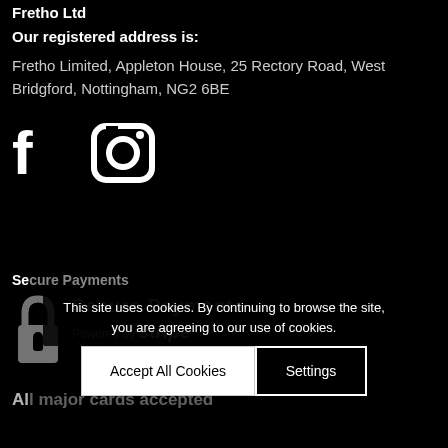Fretho Ltd
Our registered address is:
Fretho Limited, Appleton House, 25 Rectory Road, West Bridgford, Nottingham, NG2 6BE
[Figure (illustration): Social media icons: Facebook (f) and Instagram (camera) icons in white on black background]
Secure Payments
[Figure (illustration): Lock icon and Secure Payments branding with Powered by Stripe text]
All major cards accepted
This site uses cookies. By continuing to browse the site, you are agreeing to our use of cookies.